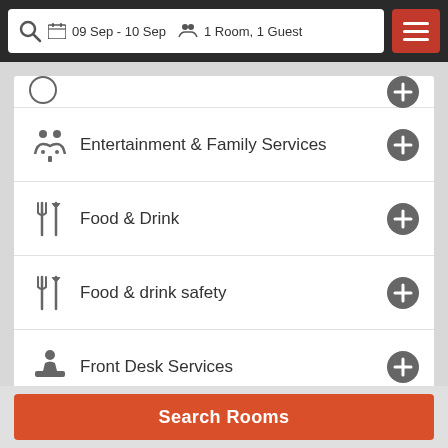09 Sep - 10 Sep  1 Room, 1 Guest
Entertainment & Family Services
Food & Drink
Food & drink safety
Front Desk Services
General
Miscellaneous
Search Rooms